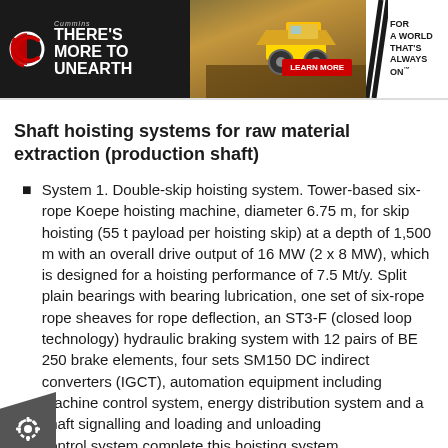[Figure (infographic): Cummins advertisement banner: black left panel with Cummins logo and 'THERE'S MORE TO UNEARTH' slogan, center panel showing a large yellow mining truck on rocky terrain with a red LEARN MORE button, right white panel with double slash marks and 'FOR A WORLD THAT'S ALWAYS ON' tagline.]
Shaft hoisting systems for raw material extraction (production shaft)
System 1. Double-skip hoisting system. Tower-based six-rope Koepe hoisting machine, diameter 6.75 m, for skip hoisting (55 t payload per hoisting skip) at a depth of 1,500 m with an overall drive output of 16 MW (2 x 8 MW), which is designed for a hoisting performance of 7.5 Mt/y. Split plain bearings with bearing lubrication, one set of six-rope rope sheaves for rope deflection, an ST3-F (closed loop technology) hydraulic braking system with 12 pairs of BE 250 brake elements, four sets SM150 DC indirect converters (IGCT), automation equipment including machine control system, energy distribution system and a shaft signalling and loading and unloading control system complete this hoisting system.